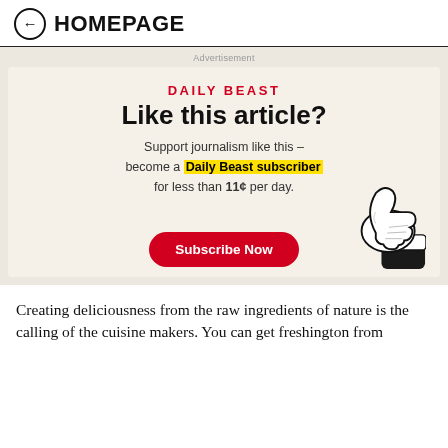← HOMEPAGE
Advertisement
[Figure (infographic): Daily Beast subscription advertisement with red 'DAILY BEAST' logo, headline 'Like this article?', body text about becoming a Daily Beast subscriber for less than 11¢ per day, a red 'Subscribe Now' button, and a cartoon thumbs-up illustration.]
Creating deliciousness from the raw ingredients of nature is the calling of the cuisine makers. You can get freshington from